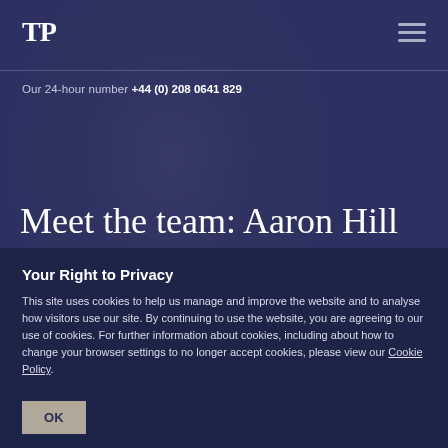TP
Our 24-hour number +44 (0) 208 0641 829
[Figure (photo): Background photo of a young man with glasses, overlaid with dark blue-purple tint]
Meet the team: Aaron Hill
Your Right to Privacy
This site uses cookies to help us manage and improve the website and to analyse how visitors use our site. By continuing to use the website, you are agreeing to our use of cookies. For further information about cookies, including about how to change your browser settings to no longer accept cookies, please view our Cookie Policy.
OK
Sign up to The Lede